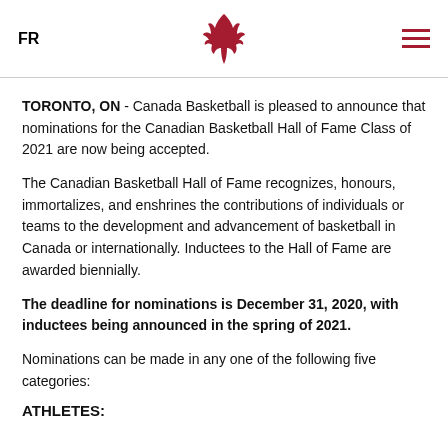FR [Canada Basketball logo] [menu icon]
TORONTO, ON - Canada Basketball is pleased to announce that nominations for the Canadian Basketball Hall of Fame Class of 2021 are now being accepted.
The Canadian Basketball Hall of Fame recognizes, honours, immortalizes, and enshrines the contributions of individuals or teams to the development and advancement of basketball in Canada or internationally. Inductees to the Hall of Fame are awarded biennially.
The deadline for nominations is December 31, 2020, with inductees being announced in the spring of 2021.
Nominations can be made in any one of the following five categories:
ATHLETES: